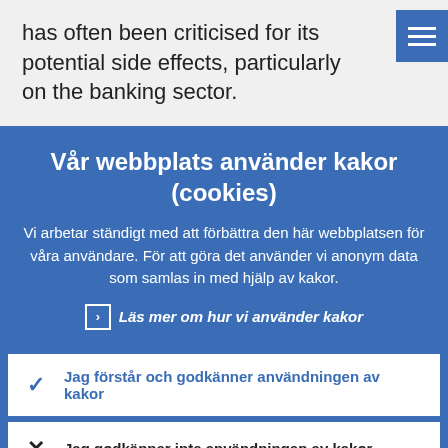has often been criticised for its potential side effects, particularly on the banking sector.
[Figure (screenshot): Blue hamburger menu button (three horizontal lines) in top right corner]
Vår webbplats använder kakor (cookies)
Vi arbetar ständigt med att förbättra den här webbplatsen för våra användare. För att göra det använder vi anonym data som samlas in med hjälp av kakor.
Läs mer om hur vi använder kakor
Jag förstår och godkänner användningen av kakor
Jag godkänner inte användningen av kakor